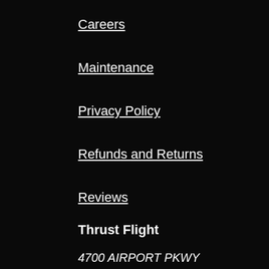Careers
Maintenance
Privacy Policy
Refunds and Returns
Reviews
Thrust Flight
4700 AIRPORT PKWY
ADDISON, TX 75001
972.735.9099